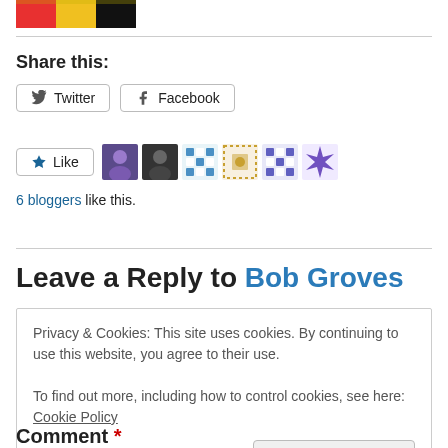[Figure (photo): Partial image of colorful background (yellow, red, black) cropped at top]
Share this:
Twitter button and Facebook button
Like button with 6 blogger avatars
6 bloggers like this.
Leave a Reply to Bob Groves
Privacy & Cookies: This site uses cookies. By continuing to use this website, you agree to their use.
To find out more, including how to control cookies, see here: Cookie Policy
Close and accept
Comment *